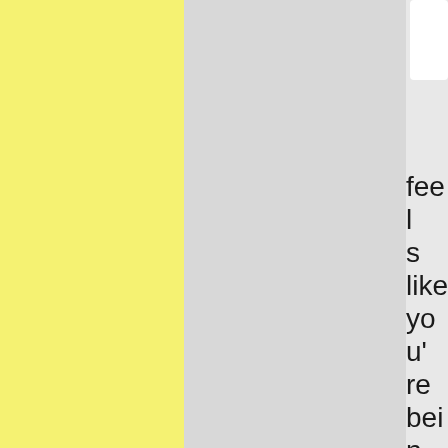[Figure (other): Yellow panel on left side of page]
[Figure (other): Gray panel in center of page with scrollbar on right]
feels like you're being coy about who these people are and why they